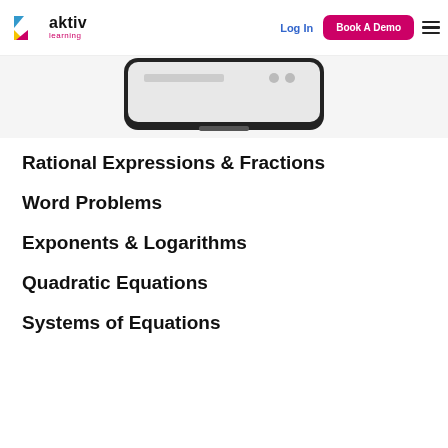aktiv learning — Log In | Book A Demo
[Figure (screenshot): Partial view of a device (tablet/laptop) screen showing a learning interface, cropped at the top of the content area.]
Rational Expressions & Fractions
Word Problems
Exponents & Logarithms
Quadratic Equations
Systems of Equations